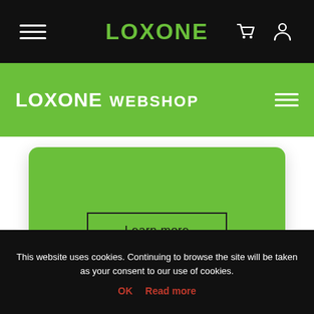LOXONE — navigation bar with hamburger menu, cart and user icons
LOXONE WEBSHOP
[Figure (screenshot): Green rounded card with a 'Learn more' button in the center]
Learn more
This website uses cookies. Continuing to browse the site will be taken as your consent to our use of cookies. OK  Read more